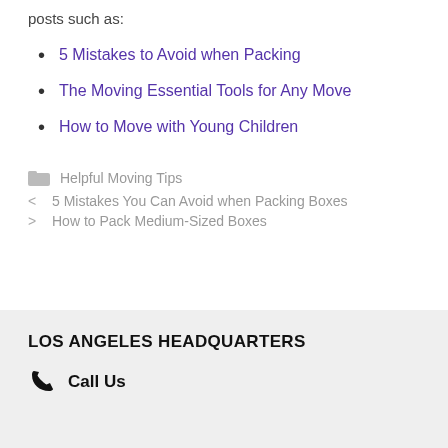posts such as:
5 Mistakes to Avoid when Packing
The Moving Essential Tools for Any Move
How to Move with Young Children
Helpful Moving Tips
< 5 Mistakes You Can Avoid when Packing Boxes
> How to Pack Medium-Sized Boxes
LOS ANGELES HEADQUARTERS
Call Us